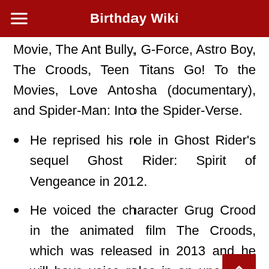Birthday Wiki
Movie, The Ant Bully, G-Force, Astro Boy, The Croods, Teen Titans Go! To the Movies, Love Antosha (documentary), and Spider-Man: Into the Spider-Verse.
He reprised his role in Ghost Rider's sequel Ghost Rider: Spirit of Vengeance in 2012.
He voiced the character Grug Crood in the animated film The Croods, which was released in 2013 and he will have voice roles in an upcoming 2020 film, The Croods 2.